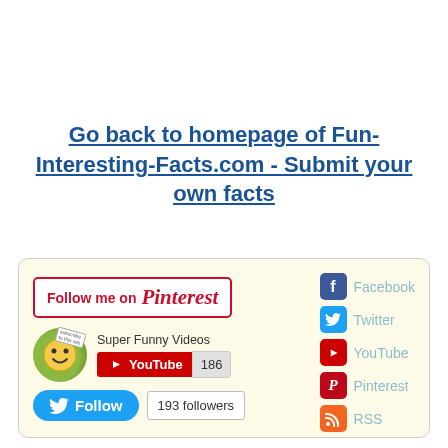Go back to homepage of Fun-Interesting-Facts.com - Submit your own facts
[Figure (screenshot): Social media widget box with Pinterest follow button, YouTube subscribe widget showing 'Super Funny Videos' channel with 186 subscribers, Twitter follow button with 193 followers count, and right-side links to Facebook, Twitter, YouTube, Pinterest, and RSS feeds on a light yellow background.]